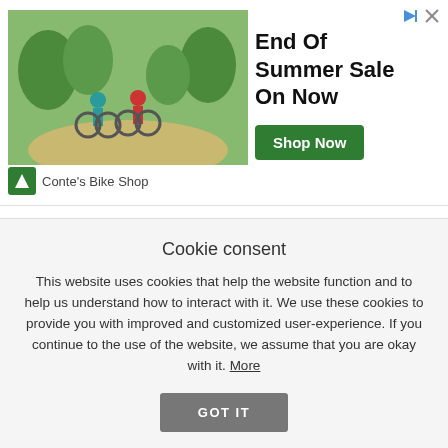[Figure (infographic): Advertisement banner for Conte's Bike Shop - End Of Summer Sale On Now with Shop Now button and cyclists photo]
stamps sugarhillco UNplan planner valentine's day webiversary
Cookie consent
This website uses cookies that help the website function and to help us understand how to interact with it. We use these cookies to provide you with improved and customized user-experience. If you continue to the use of the website, we assume that you are okay with it. More
GOT IT